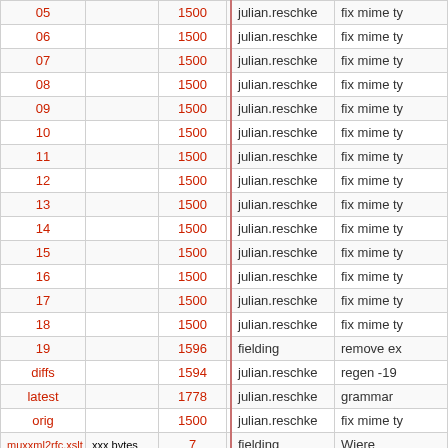| name |  | size | age | author | message |
| --- | --- | --- | --- | --- | --- |
| 05 |  | 1500 | 11 years | julian.reschke | fix mime ty |
| 06 |  | 1500 | 11 years | julian.reschke | fix mime ty |
| 07 |  | 1500 | 11 years | julian.reschke | fix mime ty |
| 08 |  | 1500 | 11 years | julian.reschke | fix mime ty |
| 09 |  | 1500 | 11 years | julian.reschke | fix mime ty |
| 10 |  | 1500 | 11 years | julian.reschke | fix mime ty |
| 11 |  | 1500 | 11 years | julian.reschke | fix mime ty |
| 12 |  | 1500 | 11 years | julian.reschke | fix mime ty |
| 13 |  | 1500 | 11 years | julian.reschke | fix mime ty |
| 14 |  | 1500 | 11 years | julian.reschke | fix mime ty |
| 15 |  | 1500 | 11 years | julian.reschke | fix mime ty |
| 16 |  | 1500 | 11 years | julian.reschke | fix mime ty |
| 17 |  | 1500 | 11 years | julian.reschke | fix mime ty |
| 18 |  | 1500 | 11 years | julian.reschke | fix mime ty |
| 19 |  | 1596 | 10 years | fielding | remove ex |
| diffs |  | 1594 | 10 years | julian.reschke | regen -19 |
| latest |  | 1778 | 10 years | julian.reschke | grammar |
| orig |  | 1500 | 11 years | julian.reschke | fix mime ty |
| muxxml2rfc.xslt | xxx bytes | 7 | 15 years | fielding | Wiere |